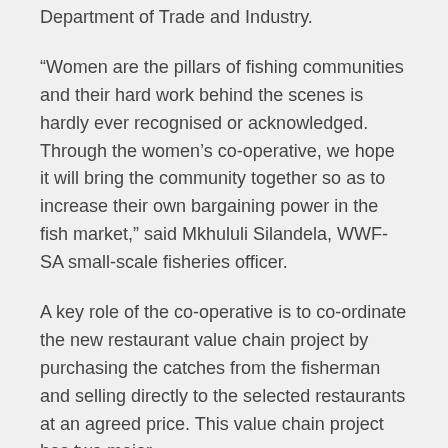Department of Trade and Industry.
“Women are the pillars of fishing communities and their hard work behind the scenes is hardly ever recognised or acknowledged. Through the women’s co-operative, we hope it will bring the community together so as to increase their own bargaining power in the fish market,” said Mkhululi Silandela, WWF-SA small-scale fisheries officer.
A key role of the co-operative is to co-ordinate the new restaurant value chain project by purchasing the catches from the fisherman and selling directly to the selected restaurants at an agreed price. This value chain project has two major